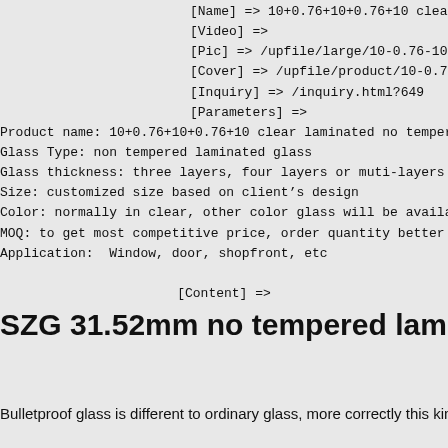[Name] => 10+0.76+10+0.76+10 clear laminated no
[Video] =>
[Pic] => /upfile/large/10-0.76-10-0.76-10-clear-
[Cover] => /upfile/product/10-0.76-10-0.76-10-cl
[Inquiry] => /inquiry.html?649
[Parameters] =>
Product name: 10+0.76+10+0.76+10 clear laminated no tempered bulletproof
Glass Type: non tempered laminated glass
Glass thickness: three layers, four layers or muti-layers laminated glas
Size: customized size based on client's design
Color: normally in clear, other color glass will be available
MOQ: to get most competitive price, order quantity better with full cont
Application:  Window, door, shopfront, etc
[Content] =>
SZG 31.52mm no tempered laminated glass for bul
Bulletproof glass is different to ordinary glass, more correctly this kind of